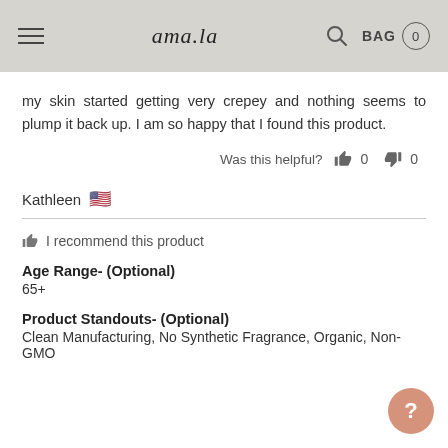ama.la  BAG 0
my skin started getting very crepey and nothing seems to plump it back up. I am so happy that I found this product.
Was this helpful? 0 0
Kathleen
I recommend this product
Age Range- (Optional)
65+
Product Standouts- (Optional)
Clean Manufacturing, No Synthetic Fragrance, Organic, Non-GMO